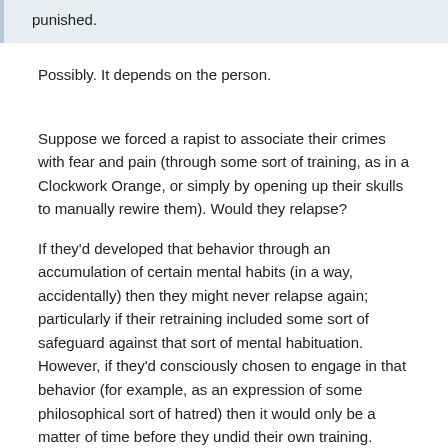punished.
Possibly. It depends on the person.
Suppose we forced a rapist to associate their crimes with fear and pain (through some sort of training, as in a Clockwork Orange, or simply by opening up their skulls to manually rewire them). Would they relapse?
If they'd developed that behavior through an accumulation of certain mental habits (in a way, accidentally) then they might never relapse again; particularly if their retraining included some sort of safeguard against that sort of mental habituation. However, if they'd consciously chosen to engage in that behavior (for example, as an expression of some philosophical sort of hatred) then it would only be a matter of time before they undid their own training.
So whether or not anyone could be rehabilitated, and what it